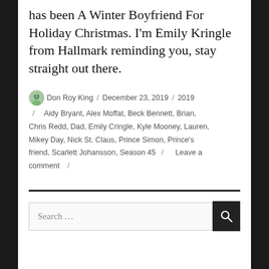has been A Winter Boyfriend For Holiday Christmas. I'm Emily Kringle from Hallmark reminding you, stay straight out there.
Don Roy King / December 23, 2019 / 2019 / Aidy Bryant, Alex Moffat, Beck Bennett, Brian, Chris Redd, Dad, Emily Cringle, Kyle Mooney, Lauren, Mikey Day, Nick St. Claus, Prince Simon, Prince's friend, Scarlett Johansson, Season 45 / Leave a comment /
Search ...